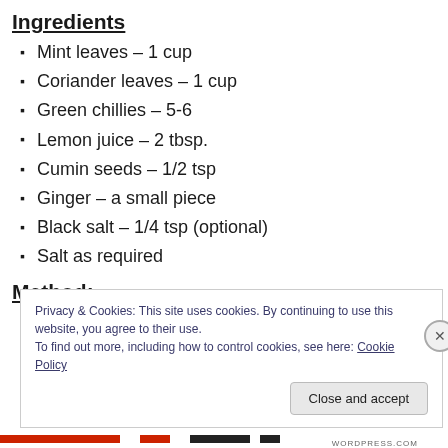Ingredients
Mint leaves – 1 cup
Coriander leaves – 1 cup
Green chillies – 5-6
Lemon juice – 2 tbsp.
Cumin seeds – 1/2 tsp
Ginger – a small piece
Black salt – 1/4 tsp (optional)
Salt as required
Method:
Privacy & Cookies: This site uses cookies. By continuing to use this website, you agree to their use.
To find out more, including how to control cookies, see here: Cookie Policy
Close and accept